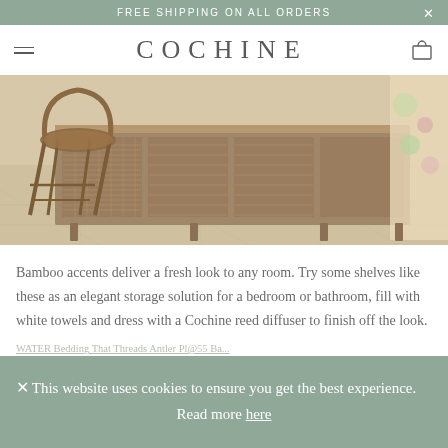FREE SHIPPING ON ALL ORDERS
COCHINE
[Figure (photo): Interior room scene featuring a bamboo/rattan chair and a wooden cane-panel sideboard/shelving unit on a tiled floor with a patterned rug, with floral fabric visible on the right.]
Bamboo accents deliver a fresh look to any room. Try some shelves like these as an elegant storage solution for a bedroom or bathroom, fill with white towels and dress with a Cochine reed diffuser to finish off the look.
This website uses cookies to ensure you get the best experience. Read more here